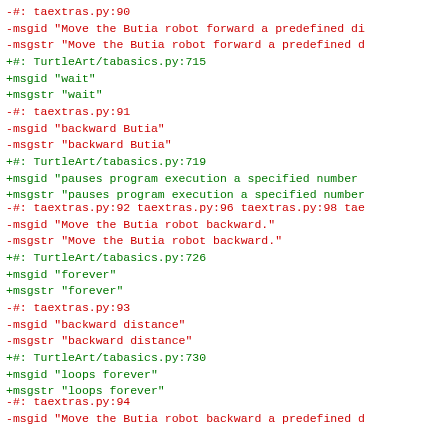-#: taextras.py:90
-msgid "Move the Butia robot forward a predefined di
-msgstr "Move the Butia robot forward a predefined d
+#: TurtleArt/tabasics.py:715
+msgid "wait"
+msgstr "wait"
-#: taextras.py:91
-msgid "backward Butia"
-msgstr "backward Butia"
+#: TurtleArt/tabasics.py:719
+msgid "pauses program execution a specified number
+msgstr "pauses program execution a specified number
-#: taextras.py:92 taextras.py:96 taextras.py:98 tae
-msgid "Move the Butia robot backward."
-msgstr "Move the Butia robot backward."
+#: TurtleArt/tabasics.py:726
+msgid "forever"
+msgstr "forever"
-#: taextras.py:93
-msgid "backward distance"
-msgstr "backward distance"
+#: TurtleArt/tabasics.py:730
+msgid "loops forever"
+msgstr "loops forever"
-#: taextras.py:94
-msgid "Move the Butia robot backward a predefined d
-msgstr "Move the Butia robot backward a predefined d